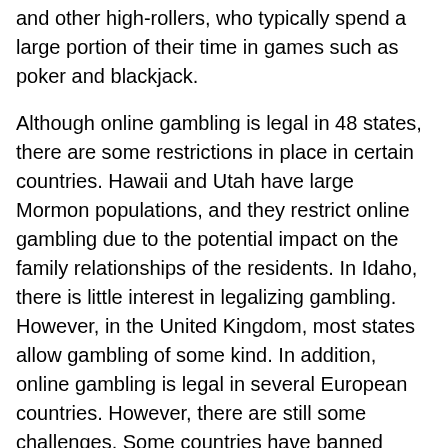and other high-rollers, who typically spend a large portion of their time in games such as poker and blackjack.
Although online gambling is legal in 48 states, there are some restrictions in place in certain countries. Hawaii and Utah have large Mormon populations, and they restrict online gambling due to the potential impact on the family relationships of the residents. In Idaho, there is little interest in legalizing gambling. However, in the United Kingdom, most states allow gambling of some kind. In addition, online gambling is legal in several European countries. However, there are still some challenges. Some countries have banned online gambling, so the question remains, “Can I gamble online in the US?”
Moreover, the number of people who have signed up to play online casinos has been growing rapidly in recent years. However, the restrictions on COVID-19 have led many casinos to close. In addition, many